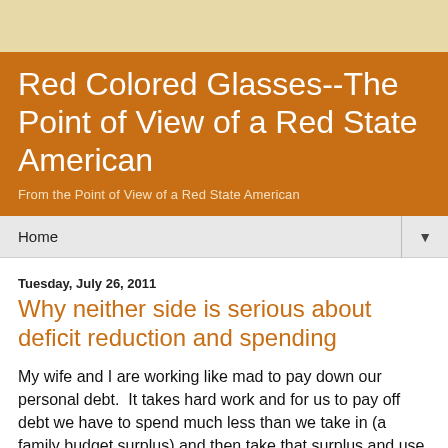Red Colored Glasses--The Point of View of a Red State American
From the Point of View of a Red State American
Home
Tuesday, July 26, 2011
Why neither side is serious about deficit reduction and spending
My wife and I are working like mad to pay down our personal debt.  It takes hard work and for us to pay off debt we have to spend much less than we take in (a family budget surplus) and then take that surplus and use it to pay down debts that we have incurred and intend to pay off.  It takes discipline